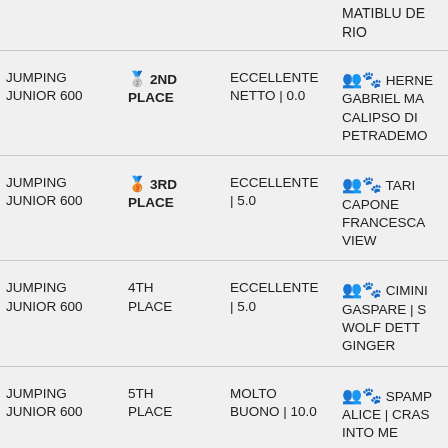| Event | Place | Score | Name |
| --- | --- | --- | --- |
|  |  |  | MATIBLU DET RIO |
| JUMPING JUNIOR 600 | 🥈 2ND PLACE | ECCELLENTE NETTO | 0.0 | 👥🐾 HERNE GABRIEL MA CALIPSO DI PETRADEMO |
| JUMPING JUNIOR 600 | 🥉 3RD PLACE | ECCELLENTE | 5.0 | 👥🐾 TARI CAPONE FRANCESCA VIEW |
| JUMPING JUNIOR 600 | 4TH PLACE | ECCELLENTE | 5.0 | 👥🐾 CIMINI GASPARE | S WOLF DETTA GINGER |
| JUMPING JUNIOR 600 | 5TH PLACE | MOLTO BUONO | 10.0 | 👥🐾 STAMPA ALICE | CRAS INTO ME |